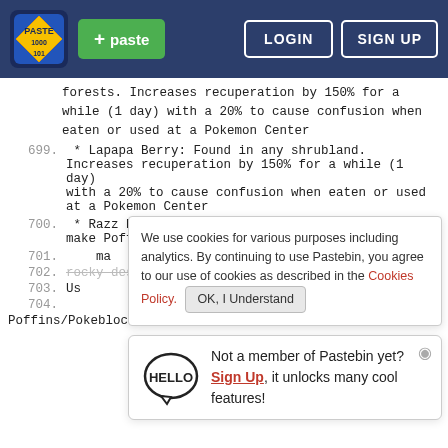Pastebin navigation bar with logo, + paste button, LOGIN and SIGN UP buttons
forests. Increases recuperation by 150% for a while (1 day) with a 20% to cause confusion when eaten or used at a Pokemon Center
699.   * Lapapa Berry: Found in any shrubland. Increases recuperation by 150% for a while (1 day) with a 20% to cause confusion when eaten or used at a Pokemon Center
700.   * Razz Berry: Found along mountains. Used to make Poffins/Pokeblocks
We use cookies for various purposes including analytics. By continuing to use Pastebin, you agree to our use of cookies as described in the Cookies Policy. OK, I Understand
701.  ma
702.  rocky deserts. Used to make Poffins/Pokeblocks
703.  Us   Not a member of Pastebin yet? Sign Up, it unlocks many cool features!
704.
Poffins/Pokeblocks or extracted for medicine